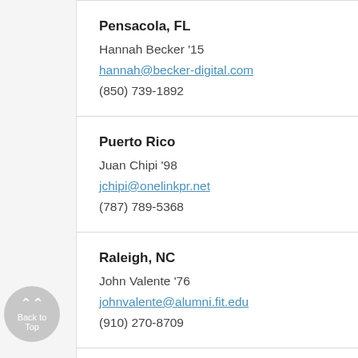Pensacola, FL
Hannah Becker '15
hannah@becker-digital.com
(850) 739-1892
Puerto Rico
Juan Chipi '98
jchipi@onelinkpr.net
(787) 789-5368
Raleigh, NC
John Valente '76
johnvalente@alumni.fit.edu
(910) 270-8709